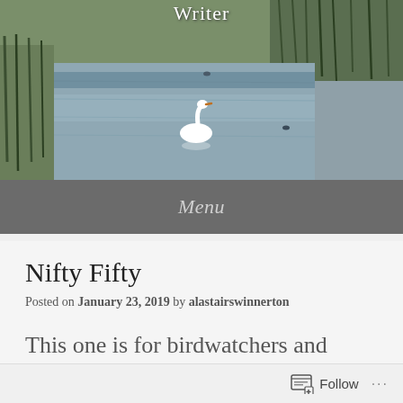[Figure (photo): A nature/wetland scene with water, reeds and grasses, and a white swan swimming. Header image of a blog about writing.]
Writer
Menu
Nifty Fifty
Posted on January 23, 2019 by alastairswinnerton
This one is for birdwatchers and photographers only, really. I bought